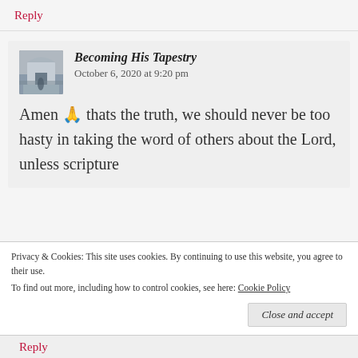Reply
Becoming His Tapestry
October 6, 2020 at 9:20 pm
Amen 🙏 thats the truth, we should never be too hasty in taking the word of others about the Lord, unless scripture
Privacy & Cookies: This site uses cookies. By continuing to use this website, you agree to their use.
To find out more, including how to control cookies, see here: Cookie Policy
Close and accept
Reply